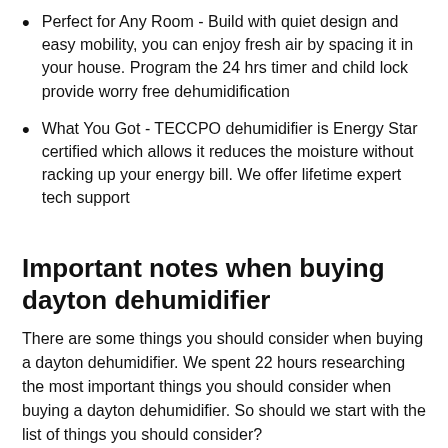Perfect for Any Room - Build with quiet design and easy mobility, you can enjoy fresh air by spacing it in your house. Program the 24 hrs timer and child lock provide worry free dehumidification
What You Got - TECCPO dehumidifier is Energy Star certified which allows it reduces the moisture without racking up your energy bill. We offer lifetime expert tech support
Important notes when buying dayton dehumidifier
There are some things you should consider when buying a dayton dehumidifier. We spent 22 hours researching the most important things you should consider when buying a dayton dehumidifier. So should we start with the list of things you should consider?